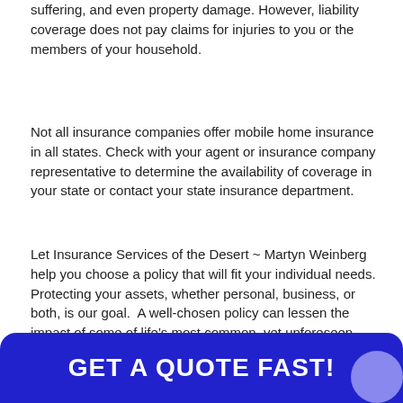suffering, and even property damage. However, liability coverage does not pay claims for injuries to you or the members of your household.
Not all insurance companies offer mobile home insurance in all states. Check with your agent or insurance company representative to determine the availability of coverage in your state or contact your state insurance department.
Let Insurance Services of the Desert ~ Martyn Weinberg help you choose a policy that will fit your individual needs.  Protecting your assets, whether personal, business, or both, is our goal.  A well-chosen policy can lessen the impact of some of life’s most common, yet unforeseen perils.  We’re here to help when you are considering mobile home coverage.
GET A QUOTE FAST!